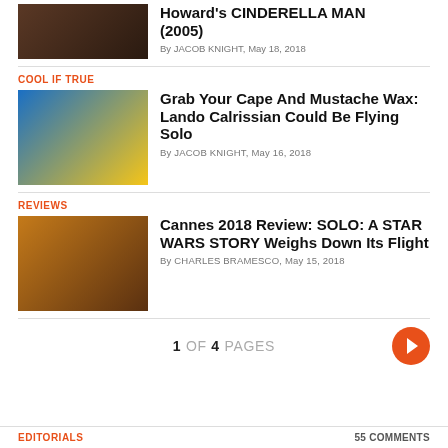[Figure (photo): Partial movie still from Cinderella Man (2005) showing boxing scene]
Howard's CINDERELLA MAN (2005)
By JACOB KNIGHT, May 18, 2018
COOL IF TRUE
[Figure (photo): Lando Calrissian character in yellow cape against blue sky background]
Grab Your Cape And Mustache Wax: Lando Calrissian Could Be Flying Solo
By JACOB KNIGHT, May 16, 2018
REVIEWS
[Figure (photo): Solo: A Star Wars Story movie poster with characters]
Cannes 2018 Review: SOLO: A STAR WARS STORY Weighs Down Its Flight
By CHARLES BRAMESCO, May 15, 2018
1 OF 4 PAGES
EDITORIALS   55 COMMENTS